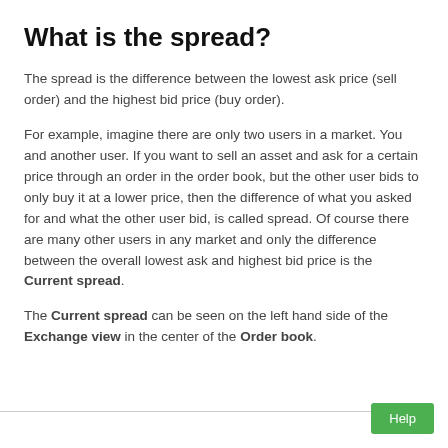What is the spread?
The spread is the difference between the lowest ask price (sell order) and the highest bid price (buy order).
For example, imagine there are only two users in a market. You and another user. If you want to sell an asset and ask for a certain price through an order in the order book, but the other user bids to only buy it at a lower price, then the difference of what you asked for and what the other user bid, is called spread. Of course there are many other users in any market and only the difference between the overall lowest ask and highest bid price is the Current spread.
The Current spread can be seen on the left hand side of the Exchange view in the center of the Order book.